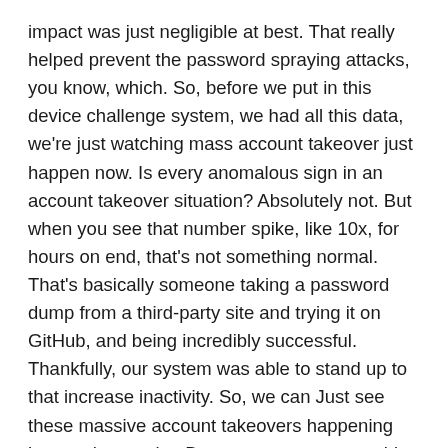impact was just negligible at best. That really helped prevent the password spraying attacks, you know, which. So, before we put in this device challenge system, we had all this data, we're just watching mass account takeover just happen now. Is every anomalous sign in an account takeover situation? Absolutely not. But when you see that number spike, like 10x, for hours on end, that's not something normal. That's basically someone taking a password dump from a third-party site and trying it on GitHub, and being incredibly successful. Thankfully, our system was able to stand up to that increase inactivity. So, we can Just see these massive account takeovers happening just on the regular. But as soon as you put this device verification in place, among other things we did as well virtually eliminating it via the web.
Chris Romeo  20:13
Yeah, the thing I love that you're bringing out in this conversation is the fact that you guys didn't just come to